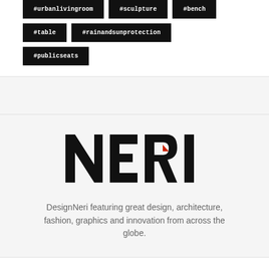#urbanlivingroom
#sculpture
#bench
#table
#rainandsunprotection
#publicseats
[Figure (logo): NERI logo in bold black uppercase letters with a small red triangle accent inside the R]
DesignNeri featuring great design, architecture, fashion, graphics and innovation from across the globe.